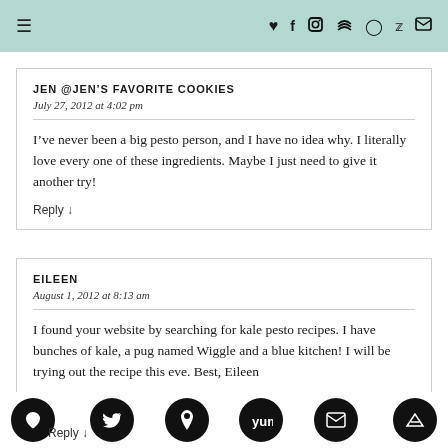≡ ♥ f 📷 RSS ⊕ 🐦 ✉
JEN @JEN'S FAVORITE COOKIES
July 27, 2012 at 4:02 pm

I've never been a big pesto person, and I have no idea why. I literally love every one of these ingredients. Maybe I just need to give it another try!

Reply ↓
EILEEN
August 1, 2012 at 8:13 am

I found your website by searching for kale pesto recipes. I have bunches of kale, a pug named Wiggle and a blue kitchen! I will be trying out the recipe this eve. Best, Eileen

Reply ↓